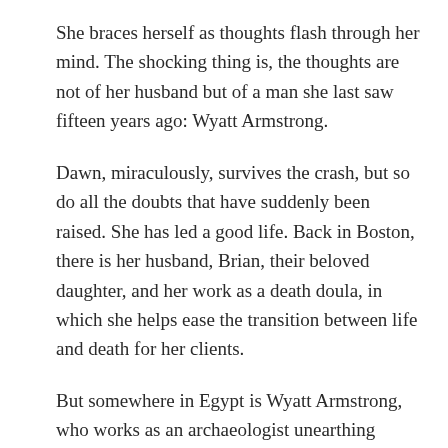She braces herself as thoughts flash through her mind. The shocking thing is, the thoughts are not of her husband but of a man she last saw fifteen years ago: Wyatt Armstrong.
Dawn, miraculously, survives the crash, but so do all the doubts that have suddenly been raised. She has led a good life. Back in Boston, there is her husband, Brian, their beloved daughter, and her work as a death doula, in which she helps ease the transition between life and death for her clients.
But somewhere in Egypt is Wyatt Armstrong, who works as an archaeologist unearthing ancient burial sites, a career Dawn once studied for but was forced to abandon when life suddenly intervened. And now, when